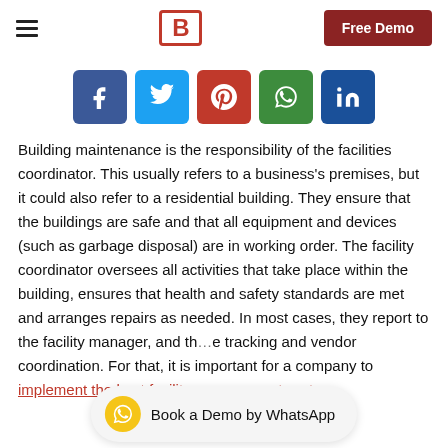B | Free Demo
[Figure (infographic): Social media share buttons: Facebook, Twitter, Pinterest, WhatsApp, LinkedIn]
Building maintenance is the responsibility of the facilities coordinator. This usually refers to a business's premises, but it could also refer to a residential building. They ensure that the buildings are safe and that all equipment and devices (such as garbage disposal) are in working order. The facility coordinator oversees all activities that take place within the building, ensures that health and safety standards are met and arranges repairs as needed. In most cases, they report to the facility manager, and th... e tracking and vendor coordination. For that, it is important for a company to implement the best facility management system
[Figure (infographic): Book a Demo by WhatsApp floating button with WhatsApp icon]